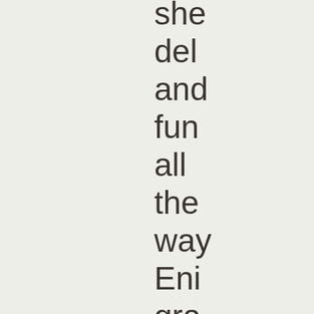she
del
and
fun
all
the
way
Eni
gra
unr
the
tru
abo
her
hus
and
rea
wha
she
has
kno
all
alo
the